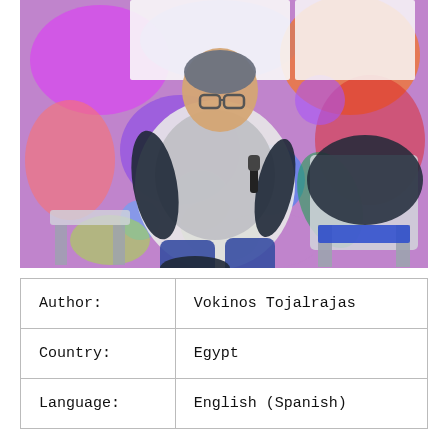[Figure (photo): A smiling woman with short hair and glasses sits cross-legged on a chair holding a microphone, against a colorful floral mural background. An empty chair with a black jacket draped over it is visible to the right.]
| Author: | Vokinos Tojalrajas |
| Country: | Egypt |
| Language: | English (Spanish) |